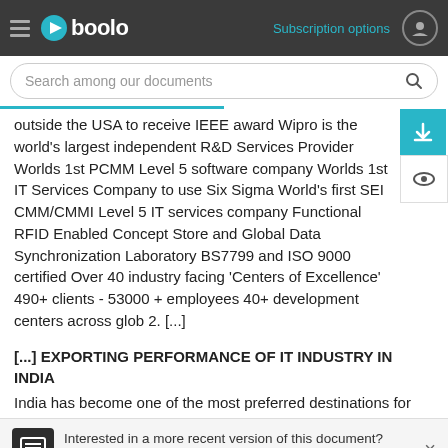Gboolo — Subscription options
outside the USA to receive IEEE award Wipro is the world's largest independent R&D Services Provider Worlds 1st PCMM Level 5 software company Worlds 1st IT Services Company to use Six Sigma World's first SEI CMM/CMMI Level 5 IT services company Functional RFID Enabled Concept Store and Global Data Synchronization Laboratory BS7799 and ISO 9000 certified Over 40 industry facing 'Centers of Excellence' 490+ clients - 53000 + employees 40+ development centers across glob 2. [...]
[...] EXPORTING PERFORMANCE OF IT INDUSTRY IN INDIA
India has become one of the most preferred destinations for sourcing software and IT enabled services. India in comparison to other low cost locations ranks high in several critical parameters quality of the labour advantage, project strong customer
Interested in a more recent version of this document? Contact us